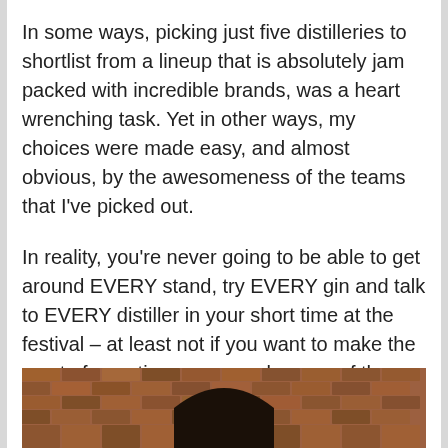In some ways, picking just five distilleries to shortlist from a lineup that is absolutely jam packed with incredible brands, was a heart wrenching task. Yet in other ways, my choices were made easy, and almost obvious, by the awesomeness of the teams that I've picked out.
In reality, you're never going to be able to get around EVERY stand, try EVERY gin and talk to EVERY distiller in your short time at the festival – at least not if you want to make the most of your time or remember any of the experience the next day! But it is my hope that my suggestions will help to give you five gins that you should definitely consider having on your hit list for the big day.
[Figure (photo): Bottom portion of a brick arch doorway, showing reddish-brown brick stonework in an arched pattern with a dark wooden door visible.]